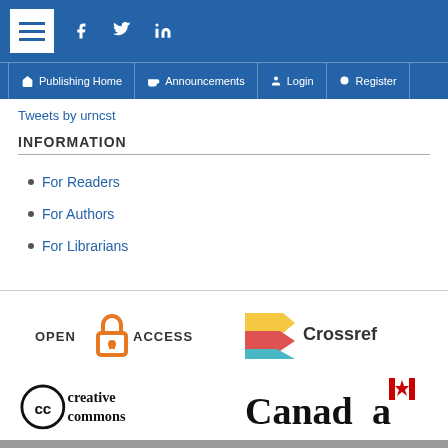≡  f  Twitter  in  |  Publishing Home  |  Announcements  |  Login  |  Register
Tweets by urncst
INFORMATION
For Readers
For Authors
For Librarians
[Figure (logo): Open Access logo with orange lock icon and text OPEN ACCESS]
[Figure (logo): Crossref logo with colorful arrow icon]
[Figure (logo): Creative Commons logo with cc circle icon and text creative commons]
[Figure (logo): Canada wordmark with red maple leaf flag icon]